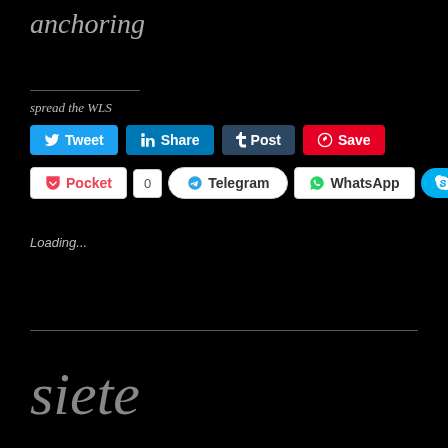anchoring
spread the WLS
[Figure (screenshot): Social sharing buttons row 1: Tweet (Twitter, blue), Share (LinkedIn, dark blue), Post (Tumblr, dark navy), Save (Pinterest, red)]
[Figure (screenshot): Social sharing buttons row 2: Pocket (white/red), 0 count, Telegram (white with icon), WhatsApp (white with icon), Share (Skype, light blue)]
Loading...
siete